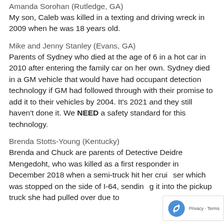Amanda Sorohan (Rutledge, GA)
My son, Caleb was killed in a texting and driving wreck in 2009 when he was 18 years old.
Mike and Jenny Stanley (Evans, GA)
Parents of Sydney who died at the age of 6 in a hot car in 2010 after entering the family car on her own. Sydney died in a GM vehicle that would have had occupant detection technology if GM had followed through with their promise to add it to their vehicles by 2004. It's 2021 and they still haven't done it. We NEED a safety standard for this technology.
Brenda Stotts-Young (Kentucky)
Brenda and Chuck are parents of Detective Deidre Mengedoht, who was killed as a first responder in December 2018 when a semi-truck hit her cruiser which was stopped on the side of I-64, sending it into the pickup truck she had pulled over due to